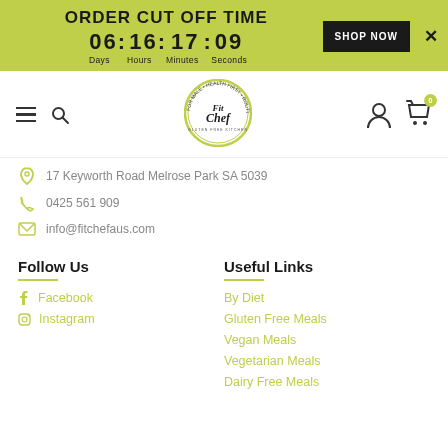ORDER CUT OFF TIME 06: 16: 17: 09 Days Hours Minutes Seconds SHOP NOW ×
[Figure (logo): Fit Chef circular logo with text and olive/green border]
17 Keyworth Road Melrose Park SA 5039
0425 561 909
info@fitchefaus.com
Follow Us
Facebook
Instagram
Useful Links
By Diet
Gluten Free Meals
Vegan Meals
Vegetarian Meals
Dairy Free Meals